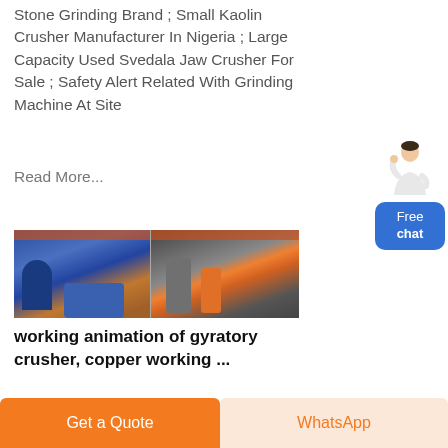Stone Grinding Brand ; Small Kaolin Crusher Manufacturer In Nigeria ; Large Capacity Used Svedala Jaw Crusher For Sale ; Safety Alert Related With Grinding Machine At Site
Read More...
[Figure (photo): Two factory floor images side by side showing industrial grinding and crushing machinery including blue silos, orange-colored equipment and large machinery in a warehouse setting]
working animation of gyratory crusher, copper working ...
Get a Quote
WhatsApp